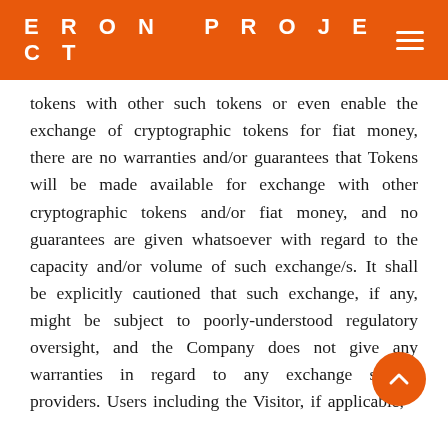ERON PROJECT
tokens with other such tokens or even enable the exchange of cryptographic tokens for fiat money, there are no warranties and/or guarantees that Tokens will be made available for exchange with other cryptographic tokens and/or fiat money, and no guarantees are given whatsoever with regard to the capacity and/or volume of such exchange/s. It shall be explicitly cautioned that such exchange, if any, might be subject to poorly-understood regulatory oversight, and the Company does not give any warranties in regard to any exchange services providers. Users including the Visitor, if applicable,